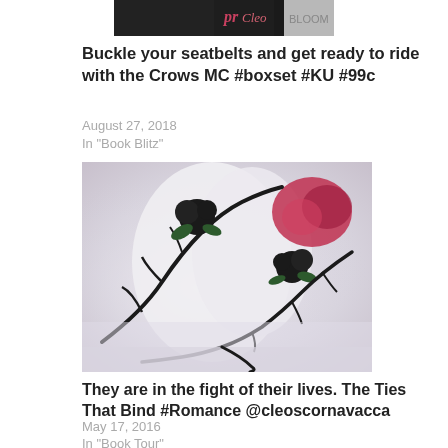[Figure (photo): Cropped top portion of a book cover with dark background and pink/red text partially visible, appears to be a motorcycle romance novel boxset]
Buckle your seatbelts and get ready to ride with the Crows MC #boxset #KU #99c
August 27, 2018
In "Book Blitz"
[Figure (photo): Artistic book cover image showing hands or arms wrapped in dark thorny vines with black flowers, white/misty background with hints of red, moody romantic atmosphere]
They are in the fight of their lives. The Ties That Bind #Romance @cleoscornavacca
May 17, 2016
In "Book Tour"